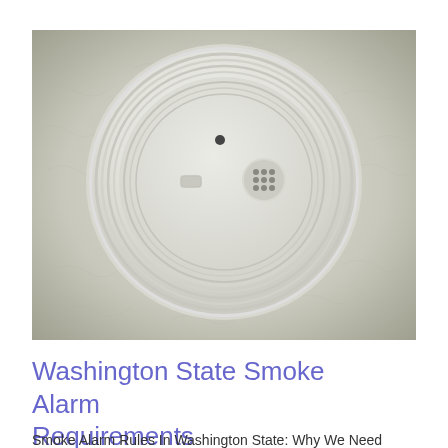[Figure (photo): Close-up photo of a white circular smoke alarm mounted on a textured white ceiling, viewed from below. The round detector has concentric ring ridges, a small rectangular button/indicator on the left, a small black dot (LED or sensor) in the center-top area, and a circular speaker grille with small holes on the right side.]
Washington State Smoke Alarm Requirements
Smoke Alarm Rules In Washington State: Why We Need